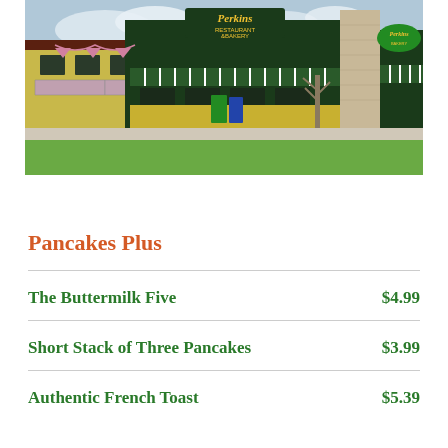[Figure (photo): Exterior photo of Perkins Restaurant & Bakery showing the building facade with green and white striped awnings, stone columns, green landscaping, and Perkins signage.]
Pancakes Plus
| Item | Price |
| --- | --- |
| The Buttermilk Five | $4.99 |
| Short Stack of Three Pancakes | $3.99 |
| Authentic French Toast | $5.39 |